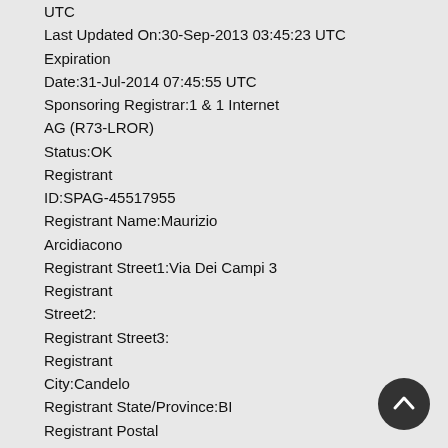UTC
Last Updated On:30-Sep-2013 03:45:23 UTC
Expiration
Date:31-Jul-2014 07:45:55 UTC
Sponsoring Registrar:1 & 1 Internet
AG (R73-LROR)
Status:OK
Registrant
ID:SPAG-45517955
Registrant Name:Maurizio
Arcidiacono
Registrant Street1:Via Dei Campi 3
Registrant
Street2:
Registrant Street3:
Registrant
City:Candelo
Registrant State/Province:BI
Registrant Postal
Code:13878
Registrant Country:IT
Registrant
Phone:+39.3477253376
Registrant Phone Ext.:
Registrant
FAX:
Registrant FAX Ext.:
Registrant